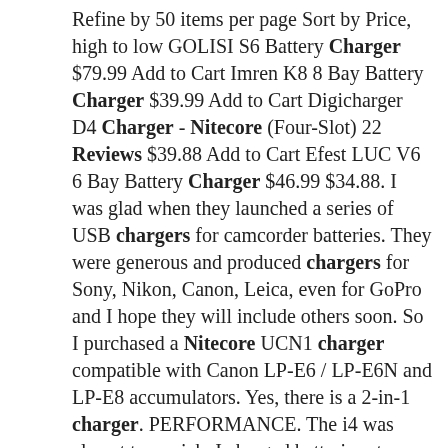Refine by 50 items per page Sort by Price, high to low GOLISI S6 Battery Charger $79.99 Add to Cart Imren K8 8 Bay Battery Charger $39.99 Add to Cart Digicharger D4 Charger - Nitecore (Four-Slot) 22 Reviews $39.88 Add to Cart Efest LUC V6 6 Bay Battery Charger $46.99 $34.88. I was glad when they launched a series of USB chargers for camcorder batteries. They were generous and produced chargers for Sony, Nikon, Canon, Leica, even for GoPro and I hope they will include others soon. So I purchased a Nitecore UCN1 charger compatible with Canon LP-E6 / LP-E6N and LP-E8 accumulators. Yes, there is a 2-in-1 charger. PERFORMANCE. The i4 was almost too quick. I charged batteries at different states (from completely dead – to 50%). On average, the 4-bay Nitecore Intellicharger was able to. sofi price target 2030ramona